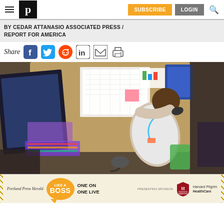Portland Press Herald - navigation bar with logo, SUBSCRIBE, LOGIN, search
BY CEDAR ATTANASIO ASSOCIATED PRESS / REPORT FOR AMERICA
Share [social icons: Facebook, Twitter, Reddit, LinkedIn, Email, Print]
[Figure (photo): Overhead/aerial view of a person with curly hair sitting at a desk covered with papers, a large monitor on the left, colorful bins and supplies, working at a busy classroom or office desk.]
[Figure (infographic): Advertisement banner: Portland Press Herald - LIKE A BOSS / ONE ON ONE LIVE - Presenting Sponsor: Harvard Pilgrim HealthCare]